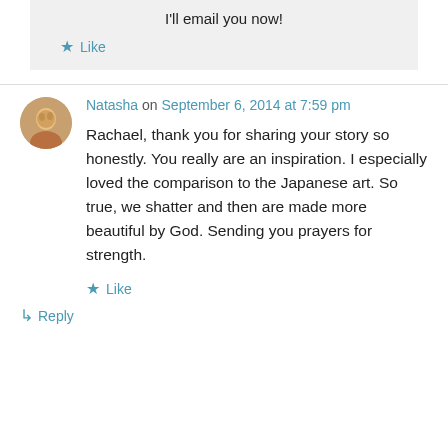I'll email you now!
Like
Natasha on September 6, 2014 at 7:59 pm
Rachael, thank you for sharing your story so honestly. You really are an inspiration. I especially loved the comparison to the Japanese art. So true, we shatter and then are made more beautiful by God. Sending you prayers for strength.
Like
Reply